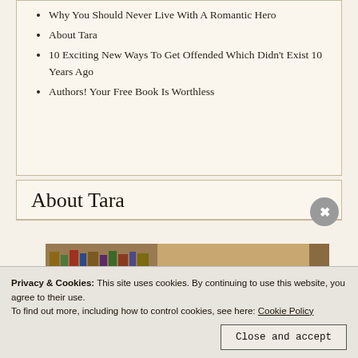Why You Should Never Live With A Romantic Hero
About Tara
10 Exciting New Ways To Get Offended Which Didn't Exist 10 Years Ago
Authors! Your Free Book Is Worthless
About Tara
[Figure (photo): Top of a person's head with dark hair, bookshelves with books visible in the background.]
Privacy & Cookies: This site uses cookies. By continuing to use this website, you agree to their use.
To find out more, including how to control cookies, see here: Cookie Policy
Close and accept